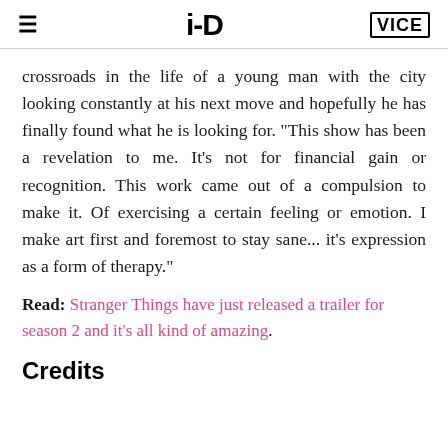≡   i-D   VICE
crossroads in the life of a young man with the city looking constantly at his next move and hopefully he has finally found what he is looking for. "This show has been a revelation to me. It's not for financial gain or recognition. This work came out of a compulsion to make it. Of exercising a certain feeling or emotion. I make art first and foremost to stay sane... it's expression as a form of therapy."
Read: Stranger Things have just released a trailer for season 2 and it's all kind of amazing.
Credits